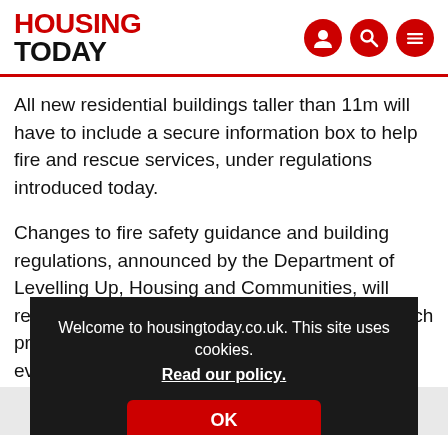HOUSING TODAY
All new residential buildings taller than 11m will have to include a secure information box to help fire and rescue services, under regulations introduced today.
Changes to fire safety guidance and building regulations, announced by the Department of Levelling Up, Housing and Communities, will require taller buildings to include the boxes, which provide important details about a building in the event of a fire.
Welcome to housingtoday.co.uk. This site uses cookies. Read our policy. OK
N... i... in...